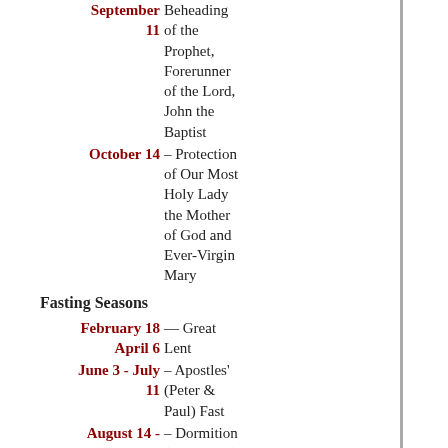September 11 — Beheading of the Prophet, Forerunner of the Lord, John the Baptist
October 14 — Protection of Our Most Holy Lady the Mother of God and Ever-Virgin Mary
Fasting Seasons
February 18 — April 6 — Great Lent
June 3 - July 11 – Apostles' (Peter & Paul) Fast
August 14 - August 28 – Dormition (Theotokos) Fast
November 28 - January 6 – Nativity (St. Philip's Fast)
Fast Days
The Wednesdays